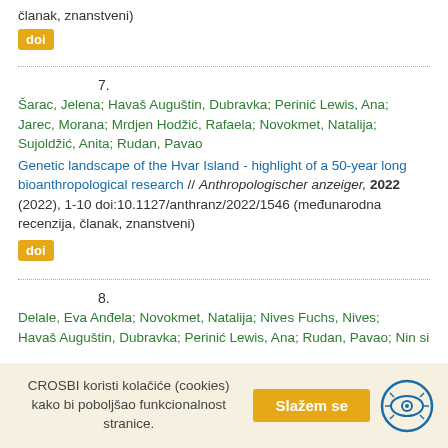članak, znanstveni)
doi
7. Šarac, Jelena; Havaš Auguštin, Dubravka; Perinić Lewis, Ana; Jarec, Morana; Mrdjen Hodžić, Rafaela; Novokmet, Natalija; Sujoldžić, Anita; Rudan, Pavao
Genetic landscape of the Hvar Island - highlight of a 50-year long bioanthropological research // Anthropologischer anzeiger, 2022 (2022), 1-10 doi:10.1127/anthranz/2022/1546 (međunarodna recenzija, članak, znanstveni)
doi
8. Delale, Eva Anđela; Novokmet, Natalija; Nives Fuchs, Nives; ...
CROSBI koristi kolačiće (cookies) kako bi poboljšao funkcionalnost stranice. Slažem se